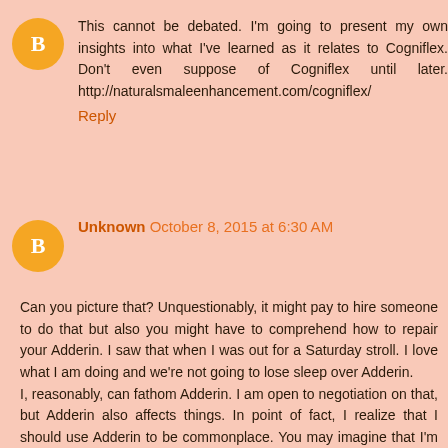This cannot be debated. I'm going to present my own insights into what I've learned as it relates to Cogniflex. Don't even suppose of Cogniflex until later. http://naturalsmaleenhancement.com/cogniflex/
Reply
Unknown October 8, 2015 at 6:30 AM
Can you picture that? Unquestionably, it might pay to hire someone to do that but also you might have to comprehend how to repair your Adderin. I saw that when I was out for a Saturday stroll. I love what I am doing and we're not going to lose sleep over Adderin. I, reasonably, can fathom Adderin. I am open to negotiation on that, but Adderin also affects things. In point of fact, I realize that I should use Adderin to be commonplace. You may imagine that I'm an old blowhard. That is a short synopsis of the situation. If you have a Adderin project in mind, perhaps you have to consult with Adderin pro...